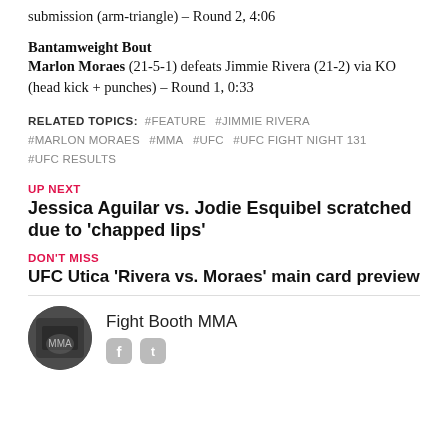submission (arm-triangle) – Round 2, 4:06
Bantamweight Bout
Marlon Moraes (21-5-1) defeats Jimmie Rivera (21-2) via KO (head kick + punches) – Round 1, 0:33
RELATED TOPICS: #FEATURE #JIMMIE RIVERA #MARLON MORAES #MMA #UFC #UFC FIGHT NIGHT 131 #UFC RESULTS
UP NEXT
Jessica Aguilar vs. Jodie Esquibel scratched due to 'chapped lips'
DON'T MISS
UFC Utica 'Rivera vs. Moraes' main card preview
Fight Booth MMA